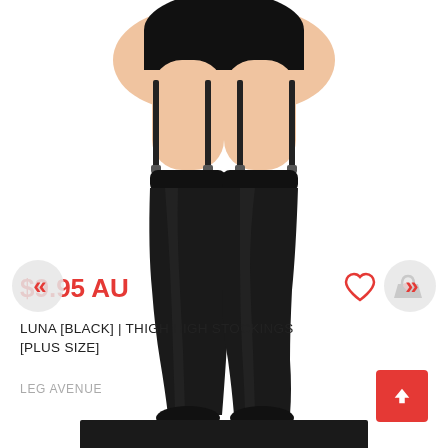[Figure (photo): Model wearing black thigh high stockings with garter belt, plus size lingerie product photo on white background]
$9.95 AU
LUNA [BLACK] | THIGH HIGH STOCKINGS [PLUS SIZE]
LEG AVENUE